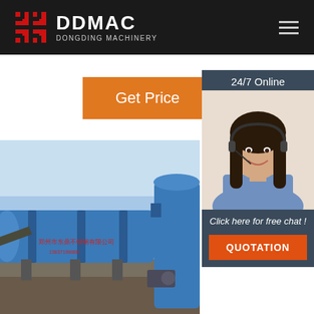DDMAC DONGDING MACHINERY
Get Price
[Figure (photo): Customer service representative woman with headset, smiling, for 24/7 Online chat support]
24/7 Online
Click here for free chat !
QUOTATION
[Figure (photo): Large blue rotary drum dryer machine on industrial site with blue sky background, with Chinese text on the drum]